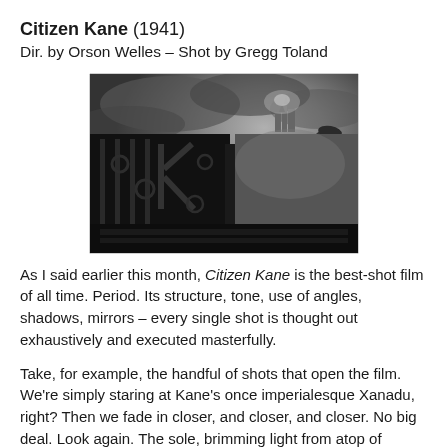Citizen Kane (1941)
Dir. by Orson Welles – Shot by Gregg Toland
[Figure (photo): Black and white still from Citizen Kane showing the ornate wrought-iron gate with the letter K monogram, with Xanadu castle visible in the misty background]
As I said earlier this month, Citizen Kane is the best-shot film of all time. Period. Its structure, tone, use of angles, shadows, mirrors – every single shot is thought out exhaustively and executed masterfully.
Take, for example, the handful of shots that open the film. We're simply staring at Kane's once imperialesque Xanadu, right? Then we fade in closer, and closer, and closer. No big deal. Look again. The sole, brimming light from atop of